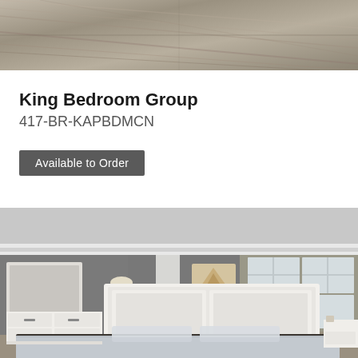[Figure (photo): Close-up photo of wood flooring/texture with gray-brown diagonal grain pattern]
King Bedroom Group
417-BR-KAPBDMCN
Available to Order
[Figure (photo): Bedroom scene with white furniture set including a king bed with panel headboard, dresser with mirror, and nightstand in a gray-walled room with white crown molding and large windows]